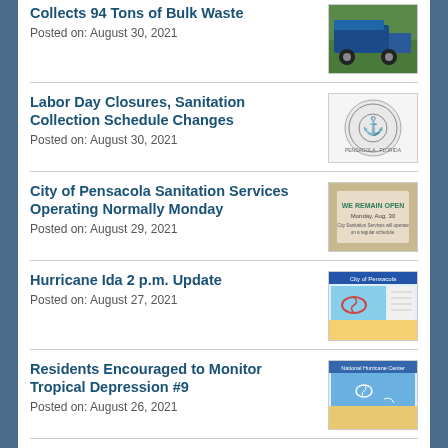Collects 94 Tons of Bulk Waste
Posted on: August 30, 2021
Labor Day Closures, Sanitation Collection Schedule Changes
Posted on: August 30, 2021
City of Pensacola Sanitation Services Operating Normally Monday
Posted on: August 29, 2021
Hurricane Ida 2 p.m. Update
Posted on: August 27, 2021
Residents Encouraged to Monitor Tropical Depression #9
Posted on: August 26, 2021
Port of Pensacola Ranked Ninth Most Valuable Florida Deepwater
Posted on: [cut off]